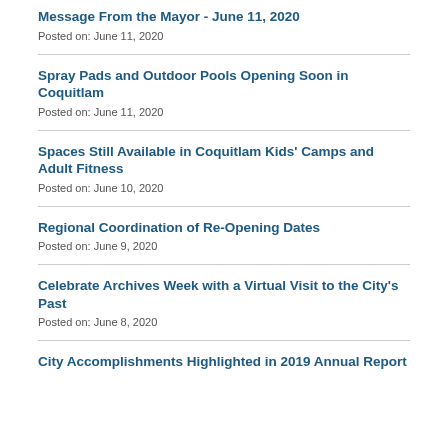Message From the Mayor - June 11, 2020
Posted on: June 11, 2020
Spray Pads and Outdoor Pools Opening Soon in Coquitlam
Posted on: June 11, 2020
Spaces Still Available in Coquitlam Kids' Camps and Adult Fitness
Posted on: June 10, 2020
Regional Coordination of Re-Opening Dates
Posted on: June 9, 2020
Celebrate Archives Week with a Virtual Visit to the City's Past
Posted on: June 8, 2020
City Accomplishments Highlighted in 2019 Annual Report